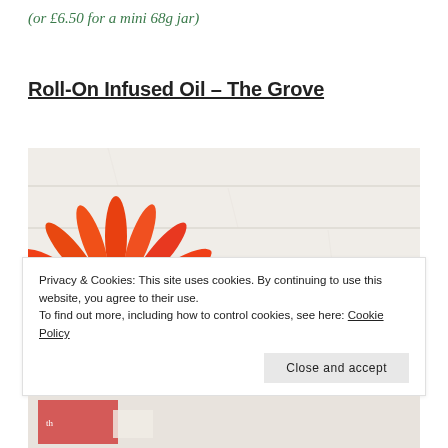(or £6.50 for a mini 68g jar)
Roll-On Infused Oil – The Grove
[Figure (photo): An orange gerbera daisy flower in the lower-left corner against a white weathered wood plank background.]
Privacy & Cookies: This site uses cookies. By continuing to use this website, you agree to their use.
To find out more, including how to control cookies, see here: Cookie Policy
Close and accept